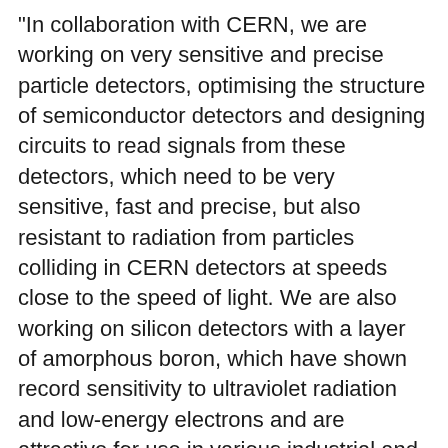"In collaboration with CERN, we are working on very sensitive and precise particle detectors, optimising the structure of semiconductor detectors and designing circuits to read signals from these detectors, which need to be very sensitive, fast and precise, but also resistant to radiation from particles colliding in CERN detectors at speeds close to the speed of light. We are also working on silicon detectors with a layer of amorphous boron, which have shown record sensitivity to ultraviolet radiation and low-energy electrons and are attractive for use in various industrial and physical instruments," they say.
They also deal with the modelling and simulation of newer semiconductor materials and elements such as transistors with high electron mobility based on gallium nitride or MOS transistors based on gallium arsenide.
Part of the group also works on modelling the properties of two-dimensional materials - graphene, phosphorene and the like. In addition to the members mentioned in the text and picture, MiNEL also includes Dubravko Babić, Mirko